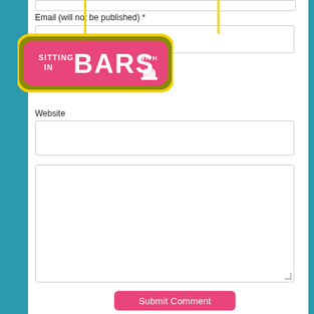Email (will not be published) *
[Figure (logo): Sitting In Bars With [cake] logo badge — olive/yellow rounded rectangle with pink fill, white text reading SITTING IN BARS WITH and a cake slice icon]
Website
Submit Comment